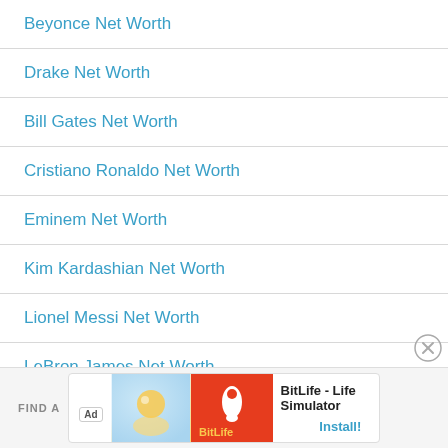Beyonce Net Worth
Drake Net Worth
Bill Gates Net Worth
Cristiano Ronaldo Net Worth
Eminem Net Worth
Kim Kardashian Net Worth
Lionel Messi Net Worth
LeBron James Net Worth
Michael Jordan Net Worth
[Figure (screenshot): Ad banner for BitLife - Life Simulator with Install button]